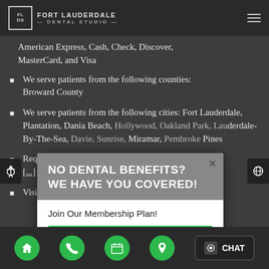Fort Lauderdale Dental Studio
American Express, Cash, Check, Discover, MasterCard, and Visa
We serve patients from the following counties: Broward County
We serve patients from the following cities: Fort Lauderdale, Plantation, Dania Beach, Hollywood, Oakland Park, Lauderdale-By-The-Sea, Davie, Sunrise, Miramar, Pembroke Pines
Requires an active membership. License [...]
Visit our Web & New Smiles
[Figure (screenshot): Popup modal overlay with gray header showing 'NO DENTAL BENEFITS? WE HAVE YOU COVERED!' in white bold text, with 'Join Our Membership Plan!' subtitle and a green 'LEARN MORE' button. Close X button in top right.]
Navigation bar with home, phone, calendar, location icons and CHAT button